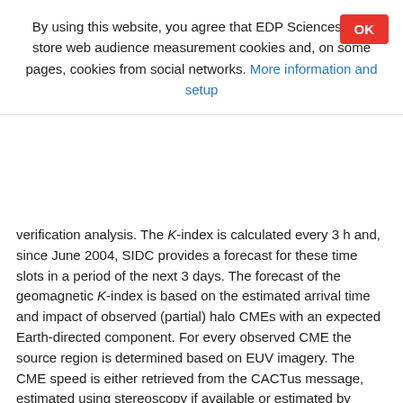By using this website, you agree that EDP Sciences may store web audience measurement cookies and, on some pages, cookies from social networks. More information and setup
verification analysis. The K-index is calculated every 3 h and, since June 2004, SIDC provides a forecast for these time slots in a period of the next 3 days. The forecast of the geomagnetic K-index is based on the estimated arrival time and impact of observed (partial) halo CMEs with an expected Earth-directed component. For every observed CME the source region is determined based on EUV imagery. The CME speed is either retrieved from the CACTus message, estimated using stereoscopy if available or estimated by applying CME modeling on coronagraphic imagery (e.g. Xue et al. 2005; Thernisien et al. 2006). Estimates of parameters such as the source region, CME width and speed are used to determine the potential likelihood of arrival, arrival time and geomagnetic impact. The arrival time can be estimated from